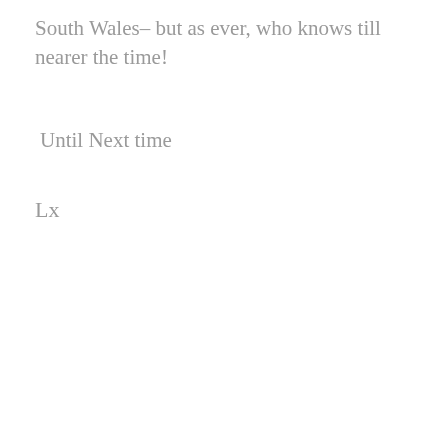South Wales– but as ever, who knows till nearer the time!
Until Next time
Lx